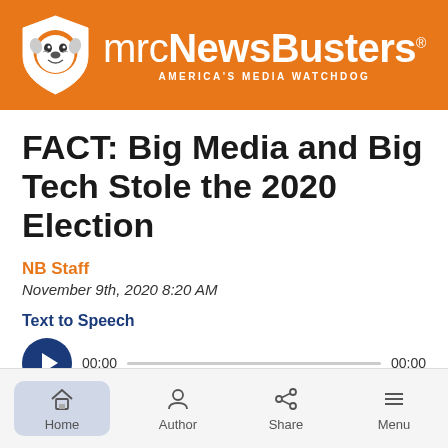mrcNewsBusters — AMERICA'S MEDIA WATCHDOG
FACT: Big Media and Big Tech Stole the 2020 Election
NB Staff
November 9th, 2020 8:20 AM
Text to Speech
[Figure (other): Audio player with play button showing 00:00 start time and 00:00 end time with progress bar]
Home | Author | Share | Menu